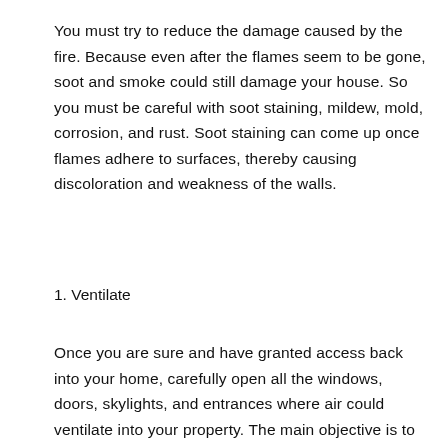You must try to reduce the damage caused by the fire. Because even after the flames seem to be gone, soot and smoke could still damage your house. So you must be careful with soot staining, mildew, mold, corrosion, and rust. Soot staining can come up once flames adhere to surfaces, thereby causing discoloration and weakness of the walls.
1. Ventilate
Once you are sure and have granted access back into your home, carefully open all the windows, doors, skylights, and entrances where air could ventilate into your property. The main objective is to let your house